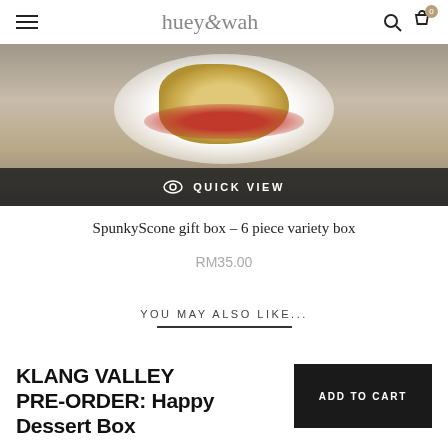huey&wah
[Figure (photo): Photo of a SpunkyScone pastry on a white plate with red sauce on a grey surface, with a dark Quick View overlay bar at the bottom showing an eye icon and 'QUICK VIEW' text]
SpunkyScone gift box – 6 piece variety box
RM35.00
YOU MAY ALSO LIKE...
KLANG VALLEY PRE-ORDER: Happy Dessert Box